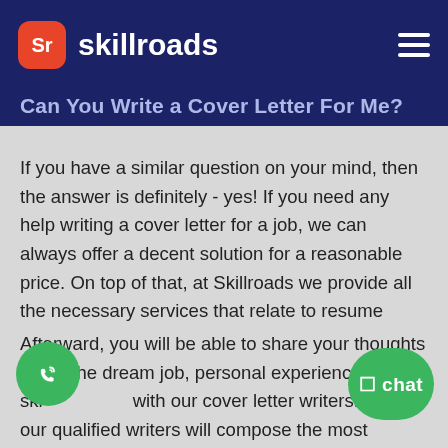skillroads
Can You Write a Cover Letter For Me?
If you have a similar question on your mind, then the answer is definitely - yes! If you need any help writing a cover letter for a job, we can always offer a decent solution for a reasonable price. On top of that, at Skillroads we provide all the necessary services that relate to resume creation, cover letter writing, and editing a LinkedIn profile. To purchase a service package and receive your cover letter help, you have to create a personal account, which requires only your name and email.
Afterward, you will be able to share your thoughts about the dream job, personal experience, and skills with our cover letter writers. Then, our qualified writers will compose the most compelling cover letter